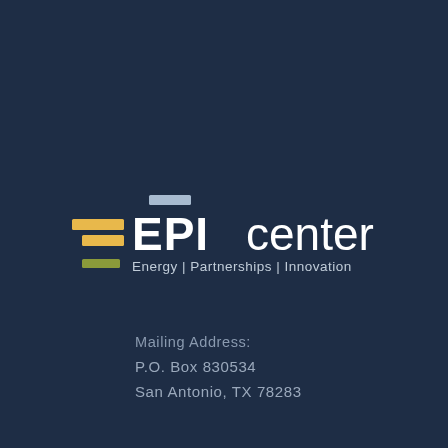[Figure (logo): EPIcenter logo with colored horizontal bars (light blue, gold/yellow, olive/green) and text 'EPIcenter' with tagline 'Energy | Partnerships | Innovation' on dark navy background]
Mailing Address:
P.O. Box 830534
San Antonio, TX 78283